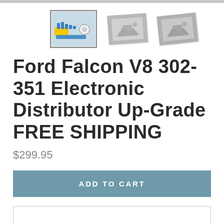[Figure (screenshot): Top gray bar / cropped image area at top of page]
[Figure (photo): Three product thumbnail images: first shows Ford Falcon electronic distributor kit with yellow and blue parts, second and third are placeholder/unloaded images (gray)]
Ford Falcon V8 302-351 Electronic Distributor Up-Grade FREE SHIPPING
$299.95
ADD TO CART